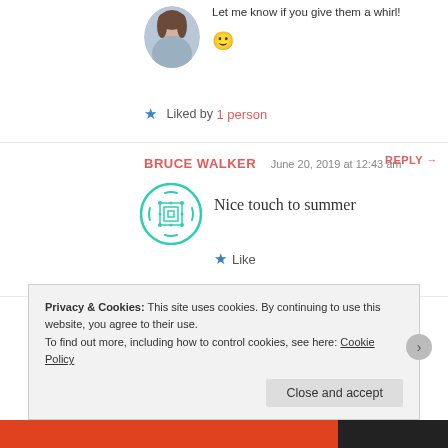Let me know if you give them a whirl! 🙂
★ Liked by 1 person
BRUCE WALKER  June 20, 2019 at 12:43 am  REPLY →
[Figure (logo): Bruce Walker avatar — circular teal geometric pattern icon]
Nice touch to summer
★ Like
LARICE  July 5, 2019 at 5:29 pm
Privacy & Cookies: This site uses cookies. By continuing to use this website, you agree to their use.
To find out more, including how to control cookies, see here: Cookie Policy
Close and accept